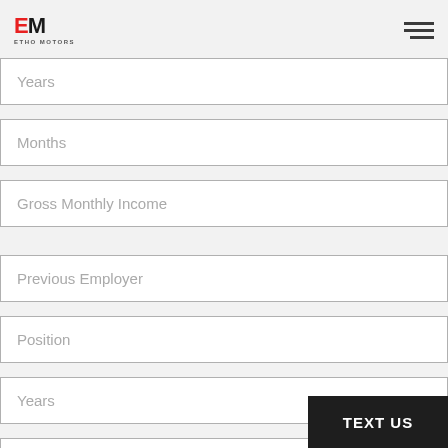EM ETHO MOTORS
Years
Months
Gross Monthly Income
Previous Employer
Position
Years
Months
TEXT US